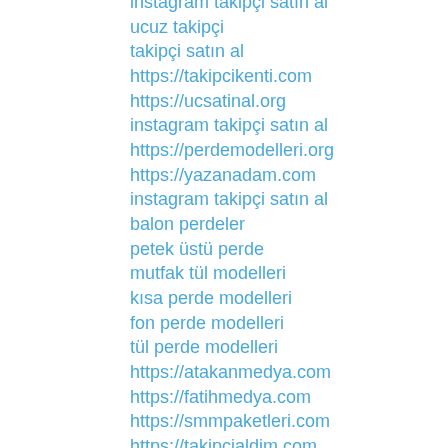instagram takipçi satın al
ucuz takipçi
takipçi satın al
https://takipcikenti.com
https://ucsatinal.org
instagram takipçi satın al
https://perdemodelleri.org
https://yazanadam.com
instagram takipçi satın al
balon perdeler
petek üstü perde
mutfak tül modelleri
kısa perde modelleri
fon perde modelleri
tül perde modelleri
https://atakanmedya.com
https://fatihmedya.com
https://smmpaketleri.com
https://takipcialdim.com
https://yazanadam.com
yasaklı sitelere giriş
aşk kitapları
yabancı şarkılar